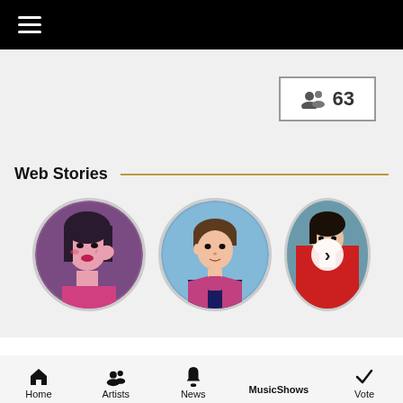☰ (hamburger menu)
👥 63
Web Stories
[Figure (photo): Three circular story thumbnails: first shows a young woman with pink makeup, second shows a young man in a blue/pink jacket on blue background, third is partially visible showing a person in red jacket with a next/forward arrow overlay]
Home  Artists  News  MusicShows  Vote